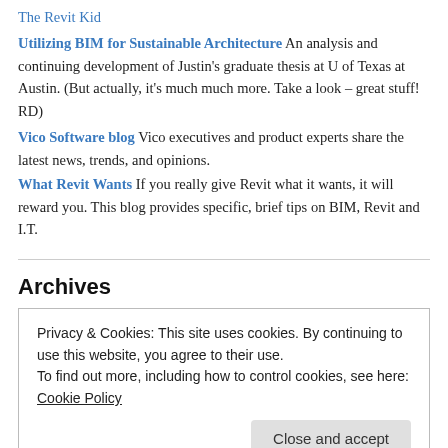The Revit Kid
Utilizing BIM for Sustainable Architecture An analysis and continuing development of Justin's graduate thesis at U of Texas at Austin. (But actually, it's much much more. Take a look – great stuff! RD)
Vico Software blog Vico executives and product experts share the latest news, trends, and opinions.
What Revit Wants If you really give Revit what it wants, it will reward you. This blog provides specific, brief tips on BIM, Revit and I.T.
Archives
June 2015
October 2014
June 2013
Privacy & Cookies: This site uses cookies. By continuing to use this website, you agree to their use.
To find out more, including how to control cookies, see here: Cookie Policy